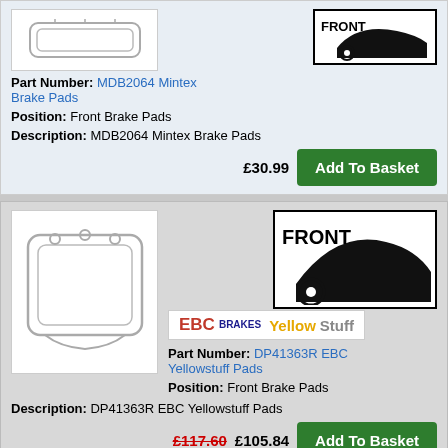Part Number: MDB2064 Mintex Brake Pads
Position: Front Brake Pads
Description: MDB2064 Mintex Brake Pads
£30.99 Add To Basket
[Figure (illustration): EBC Yellow Stuff Brakes logo]
[Figure (illustration): Front car silhouette badge showing front wheel position]
Part Number: DP41363R EBC Yellowstuff Pads
Position: Front Brake Pads
Description: DP41363R EBC Yellowstuff Pads
£117.60 £105.84 Add To Basket
[Figure (illustration): Partial view of third product card with FRONT badge]